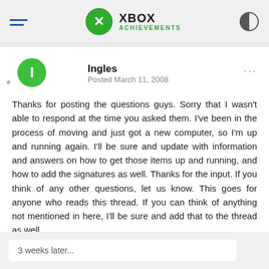XBOX ACHIEVEMENTS
Ingles
Posted March 11, 2008
Thanks for posting the questions guys. Sorry that I wasn't able to respond at the time you asked them. I've been in the process of moving and just got a new computer, so I'm up and running again. I'll be sure and update with information and answers on how to get those items up and running, and how to add the signatures as well. Thanks for the input. If you think of any other questions, let us know. This goes for anyone who reads this thread. If you can think of anything not mentioned in here, I'll be sure and add that to the thread as well.
3 weeks later...